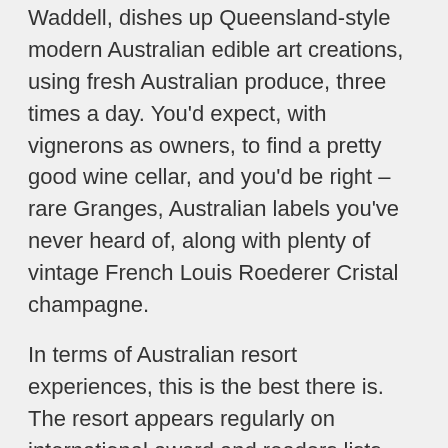Waddell, dishes up Queensland-style modern Australian edible art creations, using fresh Australian produce, three times a day. You'd expect, with vignerons as owners, to find a pretty good wine cellar, and you'd be right – rare Granges, Australian labels you've never heard of, along with plenty of vintage French Louis Roederer Cristal champagne.
In terms of Australian resort experiences, this is the best there is. The resort appears regularly on international award and readers lists, appealing to overseas guests because it's authentically so Australian, and Australians because it's so unpretentious. The only question is…can you afford it??
Australia's answer to world class luxury, this is the kind of place that makes you curl your toes up with the deliciousness of it all.